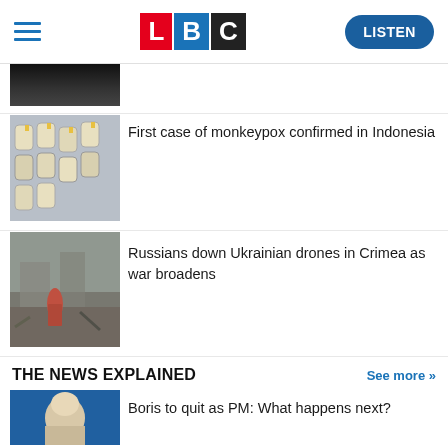LBC — LISTEN
[Figure (photo): Partial view of a dark image, top of page, cropped]
First case of monkeypox confirmed in Indonesia
[Figure (photo): Vaccine vials photo]
Russians down Ukrainian drones in Crimea as war broadens
[Figure (photo): War destruction scene with a person walking through rubble]
THE NEWS EXPLAINED
See more >>
Boris to quit as PM: What happens next?
[Figure (photo): Boris Johnson related photo with blue background]